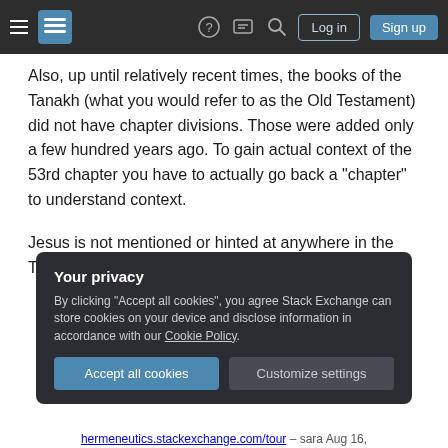Stack Exchange navigation bar with hamburger menu, logo, help, chat, search icons, Log in and Sign up buttons
Also, up until relatively recent times, the books of the Tanakh (what you would refer to as the Old Testament) did not have chapter divisions. Those were added only a few hundred years ago. To gain actual context of the 53rd chapter you have to actually go back a "chapter" to understand context.
Jesus is not mentioned or hinted at anywhere in the Tanakh.
Your privacy
By clicking "Accept all cookies", you agree Stack Exchange can store cookies on your device and disclose information in accordance with our Cookie Policy.
Accept all cookies    Customize settings
hermeneutics.stackexchange.com/tour – sara Aug 16,